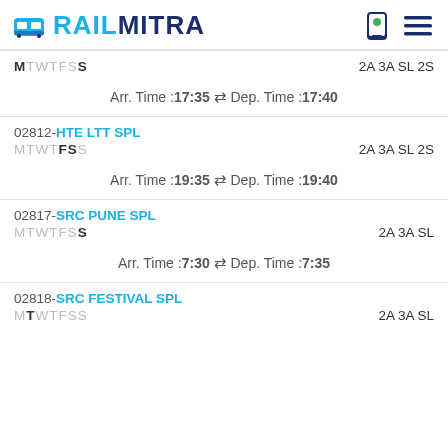RAILMITRA
M TWTFSS   2A 3A SL 2S   Arr. Time :17:35 ⇌ Dep. Time :17:40
02812-HTE LTT SPL   MTWTFSS   2A 3A SL 2S   Arr. Time :19:35 ⇌ Dep. Time :19:40
02817-SRC PUNE SPL   MTWTFSS   2A 3A SL   Arr. Time :7:30 ⇌ Dep. Time :7:35
02818-SRC FESTIVAL SPL   MTWTFSS   2A 3A SL